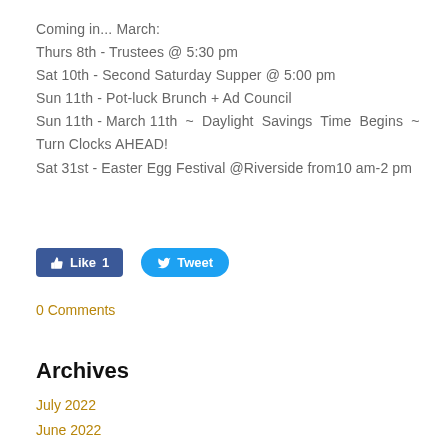Coming in... March:
Thurs 8th - Trustees @ 5:30 pm
Sat 10th - Second Saturday Supper @ 5:00 pm
Sun 11th - Pot-luck Brunch + Ad Council
Sun 11th - March 11th ~ Daylight Savings Time Begins ~ Turn Clocks AHEAD!
Sat 31st - Easter Egg Festival @Riverside from10 am-2 pm
[Figure (other): Facebook Like button showing count of 1 and Twitter Tweet button]
0 Comments
Archives
July 2022
June 2022
May 2022